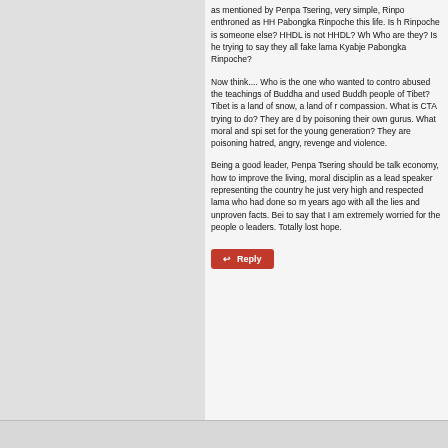as mentioned by Penpa Tsering, very simple, Rinpo enthroned as HH Pabongka Rinpoche this life. Is h Rinpoche is someone else? HHDL is not HHDL? Wh Who are they? Is he trying to say they all fake lama Kyabje Pabongka Rinpoche?
Now think.... Who is the one who wanted to contro abused the teachings of Buddha and used Buddh people of Tibet? Tibet is a land of snow, a land of r compassion. What is CTA trying to do? They are d by poisoning their own gurus. What moral and spi set for the young generation? They are poisoning hatred, angry, revenge and violence.
Being a good leader, Penpa Tsering should be talk economy, how to improve the living, moral disciplin as a lead speaker representing the country he just very high and respected lama who had done so m years ago with all the lies and unproven facts. Bei to say that I am extremely worried for the people o leaders. Totally lost hope.
Reply